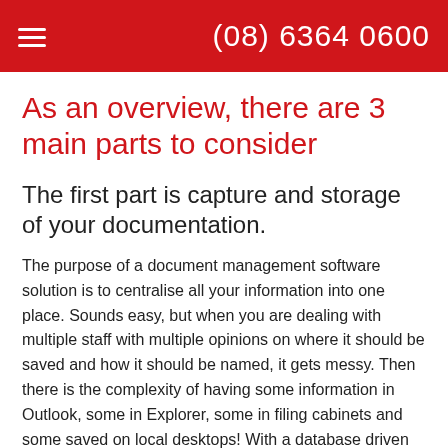(08) 6364 0600
As an overview, there are 3 main parts to consider
The first part is capture and storage of your documentation.
The purpose of a document management software solution is to centralise all your information into one place. Sounds easy, but when you are dealing with multiple staff with multiple opinions on where it should be saved and how it should be named, it gets messy. Then there is the complexity of having some information in Outlook, some in Explorer, some in filing cabinets and some saved on local desktops! With a database driven document management system, the capture side of the process is easy and everything ends up in one (backed up) location (on your